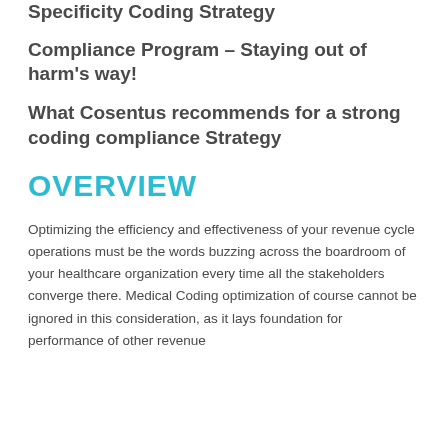Specificity Coding Strategy
Compliance Program – Staying out of harm’s way!
What Cosentus recommends for a strong coding compliance Strategy
OVERVIEW
Optimizing the efficiency and effectiveness of your revenue cycle operations must be the words buzzing across the boardroom of your healthcare organization every time all the stakeholders converge there. Medical Coding optimization of course cannot be ignored in this consideration, as it lays foundation for performance of other revenue